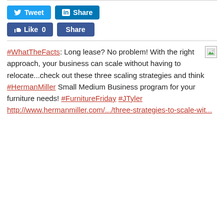[Figure (other): Social sharing buttons: Tweet (Twitter), Share (LinkedIn), Like 0 (Facebook), Share (Facebook)]
#WhatTheFacts: Long lease? No problem! With the right approach, your business can scale without having to relocate...check out these three scaling strategies and think #HermanMiller Small Medium Business program for your furniture needs! #FurnitureFriday #JTyler http://www.hermanmiller.com/.../three-strategies-to-scale-wit...